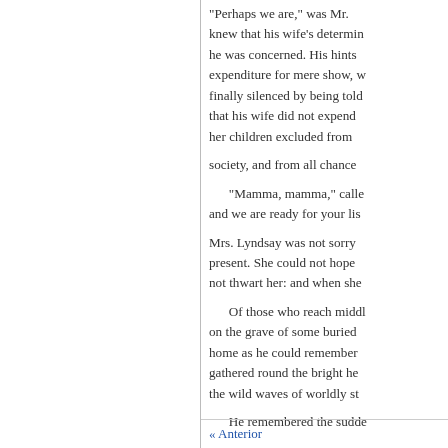"Perhaps we are," was Mr. knew that his wife's determination he was concerned. His hints expenditure for mere show, w finally silenced by being told that his wife did not expend her children excluded from society, and from all chance
“Mamma, mamma,” calle and we are ready for your lis
Mrs. Lyndsay was not sorry present. She could not hope not thwart her: and when she
Of those who reach middl on the grave of some buried home as he could remember gathered round the bright he the wild waves of worldly st
He remembered the sudde deference to his opinions, th
« Anterior